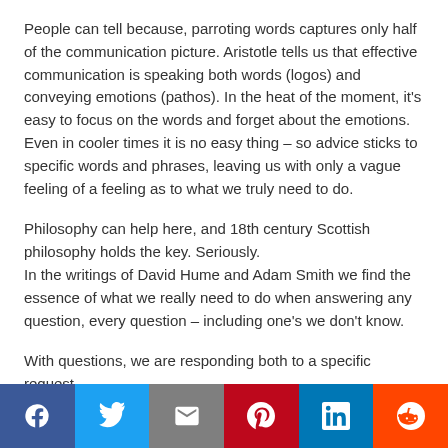People can tell because, parroting words captures only half of the communication picture. Aristotle tells us that effective communication is speaking both words (logos) and conveying emotions (pathos). In the heat of the moment, it's easy to focus on the words and forget about the emotions. Even in cooler times it is no easy thing – so advice sticks to specific words and phrases, leaving us with only a vague feeling of a feeling as to what we truly need to do.
Philosophy can help here, and 18th century Scottish philosophy holds the key. Seriously.
In the writings of David Hume and Adam Smith we find the essence of what we really need to do when answering any question, every question – including one's we don't know.
With questions, we are responding both to a specific request
Facebook | Twitter | Email | Pinterest | LinkedIn | Reddit